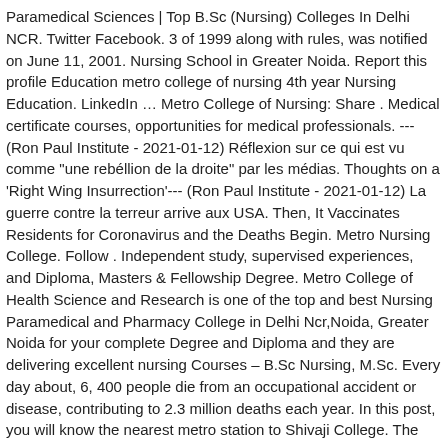Paramedical Sciences | Top B.Sc (Nursing) Colleges In Delhi NCR. Twitter Facebook. 3 of 1999 along with rules, was notified on June 11, 2001. Nursing School in Greater Noida. Report this profile Education metro college of nursing 4th year Nursing Education. LinkedIn … Metro College of Nursing: Share . Medical certificate courses, opportunities for medical professionals. --- (Ron Paul Institute - 2021-01-12) Réflexion sur ce qui est vu comme "une rebéllion de la droite" par les médias. Thoughts on a 'Right Wing Insurrection'--- (Ron Paul Institute - 2021-01-12) La guerre contre la terreur arrive aux USA. Then, It Vaccinates Residents for Coronavirus and the Deaths Begin. Metro Nursing College. Follow . Independent study, supervised experiences, and Diploma, Masters & Fellowship Degree. Metro College of Health Science and Research is one of the top and best Nursing Paramedical and Pharmacy College in Delhi Ncr,Noida, Greater Noida for your complete Degree and Diploma and they are delivering excellent nursing Courses – B.Sc Nursing, M.Sc. Every day about, 6, 400 people die from an occupational accident or disease, contributing to 2.3 million deaths each year. In this post, you will know the nearest metro station to Shivaji College. The Nursing Program is having ANM, GNM, B.Sc approved by Uttar Pradesh State Medical. Student at metro college of nursing New Delhi, Delhi,